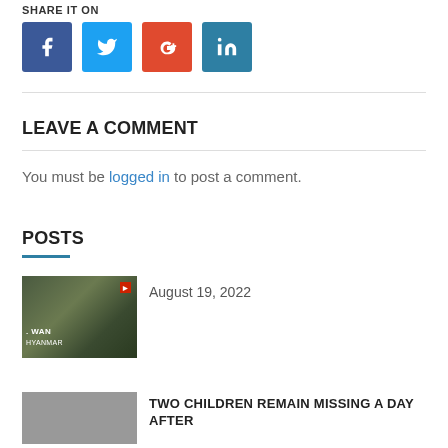SHARE IT ON
[Figure (infographic): Social sharing buttons: Facebook (blue), Twitter (light blue), Google+ (orange-red), LinkedIn (teal)]
LEAVE A COMMENT
You must be logged in to post a comment.
POSTS
[Figure (photo): Thumbnail image showing a person, with WAN MYANMAR text overlay and red logo badge]
August 19, 2022
[Figure (photo): Small thumbnail image for second post]
TWO CHILDREN REMAIN MISSING A DAY AFTER